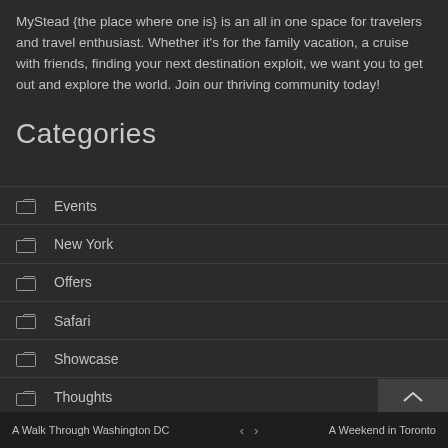MyStead {the place where one is} is an all in one space for travelers and travel enthusiast. Whether it's for the family vacation, a cruise with friends, finding your next destination exploit, we want you to get out and explore the world. Join our thriving community today!
Categories
Events
New York
Offers
Safari
Showcase
Thoughts
Tourism
Travel
A Walk Through Washington DC  ‹  ›  A Weekend in Toronto